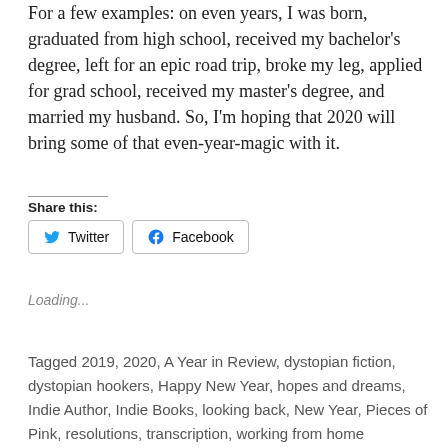For a few examples: on even years, I was born, graduated from high school, received my bachelor's degree, left for an epic road trip, broke my leg, applied for grad school, received my master's degree, and married my husband. So, I'm hoping that 2020 will bring some of that even-year-magic with it.
Share this:
Loading...
Tagged 2019, 2020, A Year in Review, dystopian fiction, dystopian hookers, Happy New Year, hopes and dreams, Indie Author, Indie Books, looking back, New Year, Pieces of Pink, resolutions, transcription, working from home